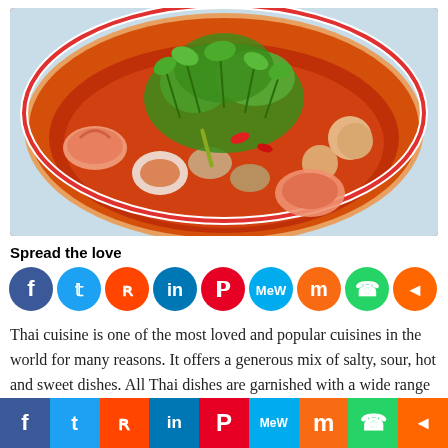[Figure (photo): A bowl of Thai tom yum soup with shrimp, squid, mushrooms, and fresh cilantro garnish in a spicy red broth]
Spread the love
[Figure (infographic): Social media sharing icons: Facebook, Twitter, Reddit, LinkedIn, Pinterest, MeWe, Mix, WhatsApp, Share]
Thai cuisine is one of the most loved and popular cuisines in the world for many reasons. It offers a generous mix of salty, sour, hot and sweet dishes. All Thai dishes are garnished with a wide range of herbs
[Figure (infographic): Footer social media sharing bar: Facebook, Twitter, Reddit, LinkedIn, Pinterest, MeWe, Mix, WhatsApp, Share]